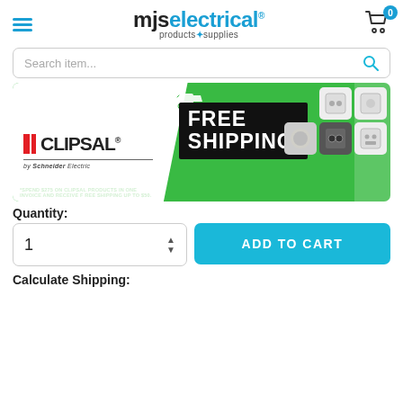[Figure (logo): MJS Electrical Products & Supplies logo with hamburger menu and cart icon]
Search item...
[Figure (infographic): Clipsal by Schneider Electric FREE SHIPPING* banner. Green background with electrical products. *SPEND $275 ON CLIPSAL PRODUCTS IN ONE INVOICE AND RECEIVE FREE SHIPPING UP TO $50.]
Quantity:
1
ADD TO CART
Calculate Shipping: